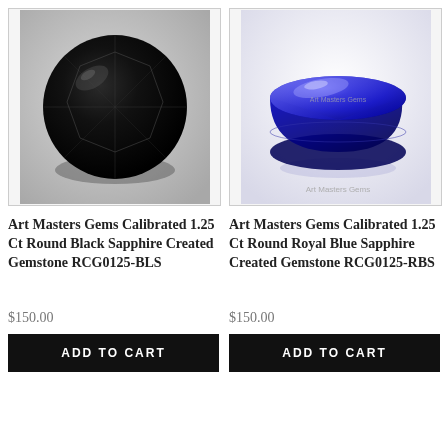[Figure (photo): Round brilliant-cut black sapphire gemstone on white/grey gradient background, viewed from above]
[Figure (photo): Round brilliant-cut royal blue sapphire gemstone on white background, side-angled view showing facets, with 'Art Masters Gems' watermark]
Art Masters Gems Calibrated 1.25 Ct Round Black Sapphire Created Gemstone RCG0125-BLS
Art Masters Gems Calibrated 1.25 Ct Round Royal Blue Sapphire Created Gemstone RCG0125-RBS
$150.00
$150.00
ADD TO CART
ADD TO CART